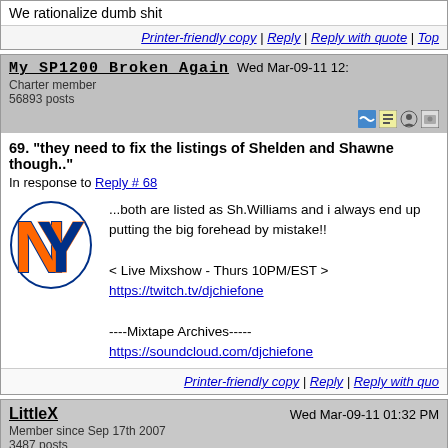We rationalize dumb shit
Printer-friendly copy | Reply | Reply with quote | Top
My_SP1200_Broken_Again  Wed Mar-09-11 12:  Charter member  56893 posts
69. "they need to fix the listings of Shelden and Shawne though.."
In response to Reply # 68
[Figure (logo): New York Mets logo - interlocking NY in orange and blue]
...both are listed as Sh.Williams and i always end up putting the big forehead by mistake!!

< Live Mixshow - Thurs 10PM/EST >
https://twitch.tv/djchiefone

----Mixtape Archives-----
https://soundcloud.com/djchiefone
Printer-friendly copy | Reply | Reply with quo
LittleX  Wed Mar-09-11 01:32 PM  Member since Sep 17th 2007  3487 posts
70. "ok Eric Spoelstra"